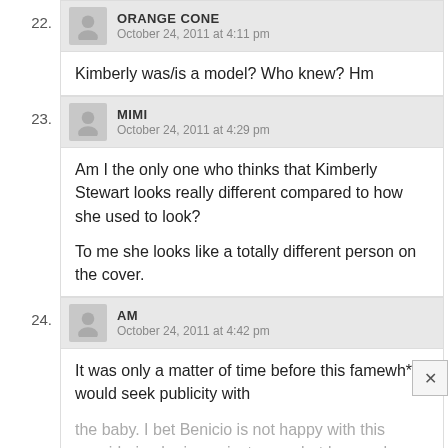22. ORANGE CONE — October 24, 2011 at 4:11 pm
Kimberly was/is a model? Who knew? Hm
23. MIMI — October 24, 2011 at 4:29 pm
Am I the only one who thinks that Kimberly Stewart looks really different compared to how she used to look?

To me she looks like a totally different person on the cover.
24. AM — October 24, 2011 at 4:42 pm
It was only a matter of time before this famewh*re would seek publicity with the baby. I bet Benicio is not happy with this considering he is a private man but I guess he shouldn't of slept with her if...